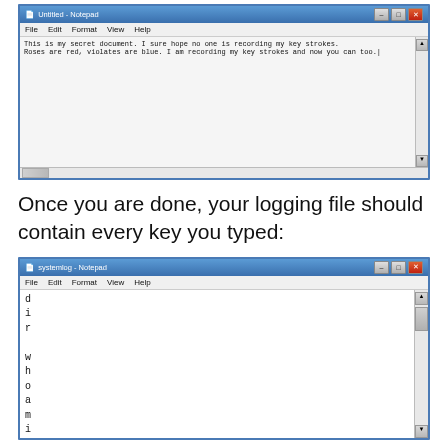[Figure (screenshot): Notepad window showing text: 'This is my secret document. I sure hope no one is recording my key strokes. Roses are red, violates are blue. I am recording my key strokes and now you can too.']
Once you are done, your logging file should contain every key you typed:
[Figure (screenshot): systemlog - Notepad window showing logged keystrokes, one character per line: d, i, r, (blank), w, h, o, a, m, i, (T cut off at bottom)]